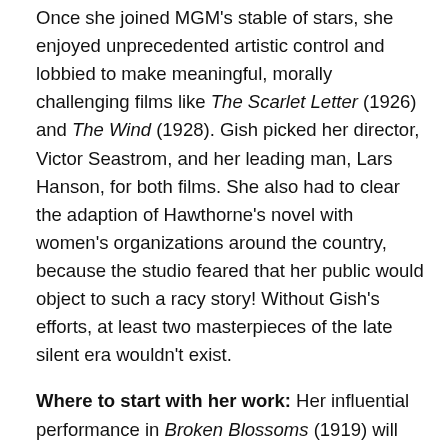Once she joined MGM's stable of stars, she enjoyed unprecedented artistic control and lobbied to make meaningful, morally challenging films like The Scarlet Letter (1926) and The Wind (1928). Gish picked her director, Victor Seastrom, and her leading man, Lars Hanson, for both films. She also had to clear the adaption of Hawthorne's novel with women's organizations around the country, because the studio feared that her public would object to such a racy story! Without Gish's efforts, at least two masterpieces of the late silent era wouldn't exist.
Where to start with her work: Her influential performance in Broken Blossoms (1919) will break your heart. Grab a box of tissues (and a good friend) and weep away. Then dig up a copy of The Wind (1928); without giving away too much about the plot, I'll just say that The